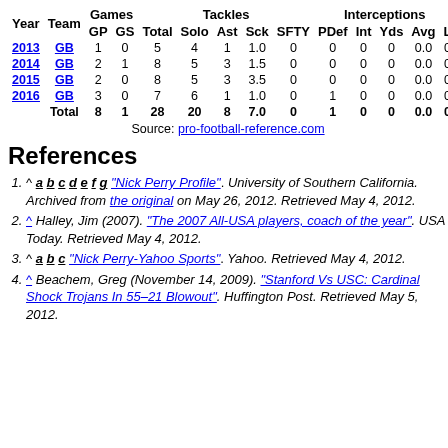| Year | Team | GP | GS | Total | Solo | Ast | Sck | SFTY | PDef | Int | Yds | Avg | L |
| --- | --- | --- | --- | --- | --- | --- | --- | --- | --- | --- | --- | --- | --- |
| 2013 | GB | 1 | 0 | 5 | 4 | 1 | 1.0 | 0 | 0 | 0 | 0 | 0.0 | 0 |
| 2014 | GB | 2 | 1 | 8 | 5 | 3 | 1.5 | 0 | 0 | 0 | 0 | 0.0 | 0 |
| 2015 | GB | 2 | 0 | 8 | 5 | 3 | 3.5 | 0 | 0 | 0 | 0 | 0.0 | 0 |
| 2016 | GB | 3 | 0 | 7 | 6 | 1 | 1.0 | 0 | 1 | 0 | 0 | 0.0 | 0 |
| Total |  | 8 | 1 | 28 | 20 | 8 | 7.0 | 0 | 1 | 0 | 0 | 0.0 | 0 |
Source: pro-football-reference.com
References
^ a b c d e f g "Nick Perry Profile". University of Southern California. Archived from the original on May 26, 2012. Retrieved May 4, 2012.
^ Halley, Jim (2007). "The 2007 All-USA players, coach of the year". USA Today. Retrieved May 4, 2012.
^ a b c "Nick Perry-Yahoo Sports". Yahoo. Retrieved May 4, 2012.
^ Beachem, Greg (November 14, 2009). "Stanford Vs USC: Cardinal Shock Trojans In 55–21 Blowout". Huffington Post. Retrieved May 5, 2012.